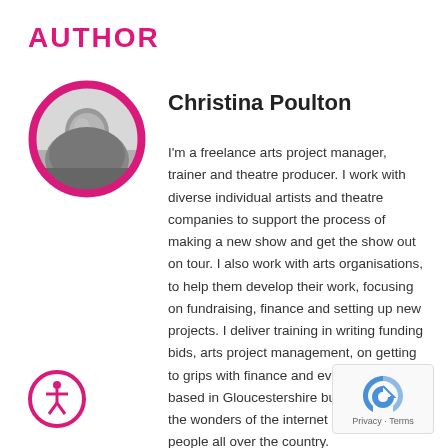AUTHOR
[Figure (photo): Black and white circular portrait photo of Christina Poulton]
Christina Poulton
I'm a freelance arts project manager, trainer and theatre producer. I work with diverse individual artists and theatre companies to support the process of making a new show and get the show out on tour. I also work with arts organisations, to help them develop their work, focusing on fundraising, finance and setting up new projects. I deliver training in writing funding bids, arts project management, on getting to grips with finance and evaluation. I'm based in Gloucestershire but because of the wonders of the internet I work with people all over the country.
[Figure (logo): Accessibility icon — person in circle with pink border]
[Figure (logo): reCAPTCHA badge with Privacy and Terms text]